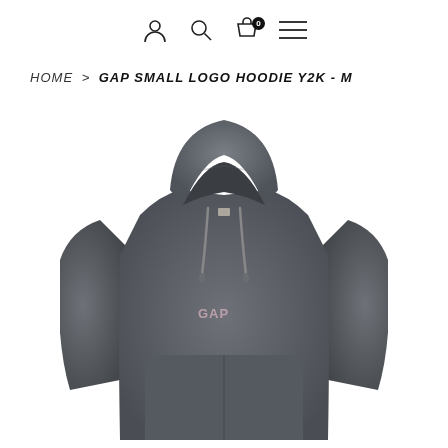Navigation icons: user, search, cart (0), menu
HOME > GAP SMALL LOGO HOODIE Y2K - M
[Figure (photo): Gray Gap branded hoodie with small embroidered GAP logo on chest and drawstring hood, photographed on white background]